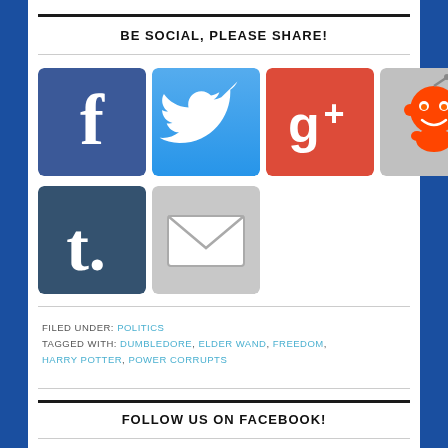BE SOCIAL, PLEASE SHARE!
[Figure (infographic): Social media sharing icons: Facebook, Twitter, Google+, Reddit, Pinterest, LinkedIn, Tumblr, Email]
FILED UNDER: POLITICS
TAGGED WITH: DUMBLEDORE, ELDER WAND, FREEDOM, HARRY POTTER, POWER CORRUPTS
FOLLOW US ON FACEBOOK!